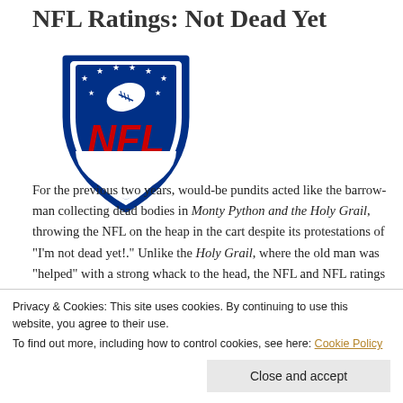NFL Ratings: Not Dead Yet
[Figure (logo): NFL shield logo — blue shield with white football and stars, red NFL letters]
For the previous two years, would-be pundits acted like the barrow-man collecting dead bodies in Monty Python and the Holy Grail, throwing the NFL on the heap in the cart despite its protestations of "I'm not dead yet!." Unlike the Holy Grail, where the old man was "helped" with a strong whack to the head, the NFL and NFL ratings have jumped off
Privacy & Cookies: This site uses cookies. By continuing to use this website, you agree to their use.
To find out more, including how to control cookies, see here: Cookie Policy
Close and accept
Combined with a substantial ratings increase for the playoffs so